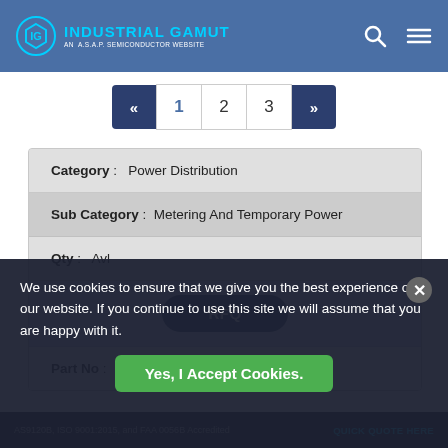INDUSTRIAL GAMUT — AN A.S.A.P. SEMICONDUCTOR WEBSITE
| Field | Value |
| --- | --- |
| Category : | Power Distribution |
| Sub Category : | Metering And Temporary Power |
| Qty : | Avl |
|  | RFQ |
| Part No : | MEPKU1FS1EMT |
We use cookies to ensure that we give you the best experience on our website. If you continue to use this site we will assume that you are happy with it.
Yes, I Accept Cookies.